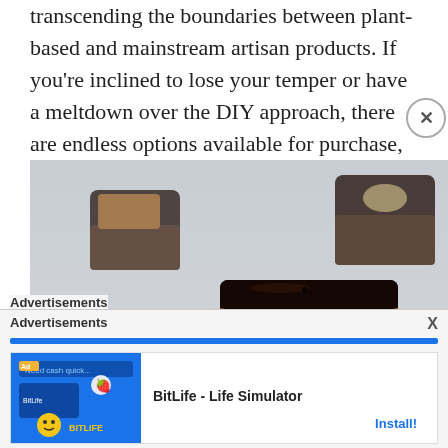transcending the boundaries between plant-based and mainstream artisan products. If you're inclined to lose your temper or have a meltdown over the DIY approach, there are endless options available for purchase, guaranteed to steal your heart.
[Figure (photo): Close-up photograph of dark chocolate pieces/bonbons on a light background. Several square and rectangular chocolate pieces are shown, with one piece broken open to reveal a textured chocolate interior. Some pieces are in paper cups.]
Advertisements
[Figure (screenshot): Advertisement banner for BitLife - Life Simulator app, showing Ad badge, app thumbnail with sperm emoji and strawberry emoji graphics, and an Install! button]